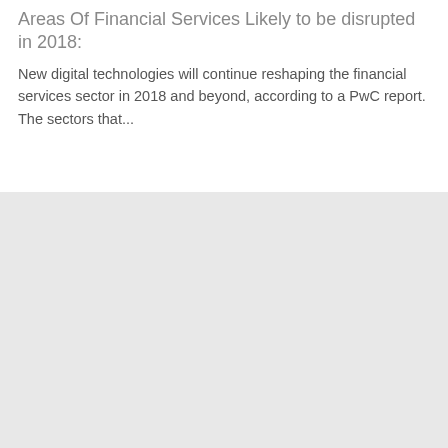Areas Of Financial Services Likely to be disrupted in 2018:
New digital technologies will continue reshaping the financial services sector in 2018 and beyond, according to a PwC report. The sectors that...
[Figure (other): Large gray/light gray blank rectangular area occupying the bottom half of the page]